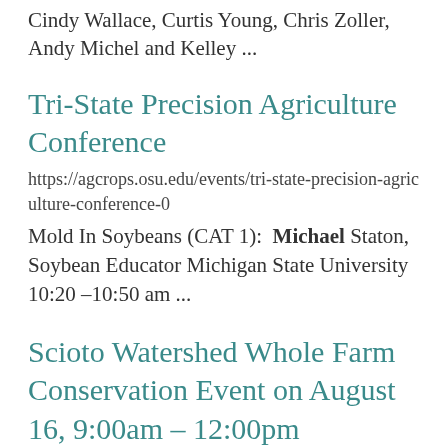Cindy Wallace, Curtis Young, Chris Zoller, Andy Michel and Kelley ...
Tri-State Precision Agriculture Conference
https://agcrops.osu.edu/events/tri-state-precision-agriculture-conference-0
Mold In Soybeans (CAT 1): Michael Staton, Soybean Educator Michigan State University 10:20 –10:50 am ...
Scioto Watershed Whole Farm Conservation Event on August 16, 9:00am – 12:00pm
https://agcrops.osu.edu/newsletter/corn-